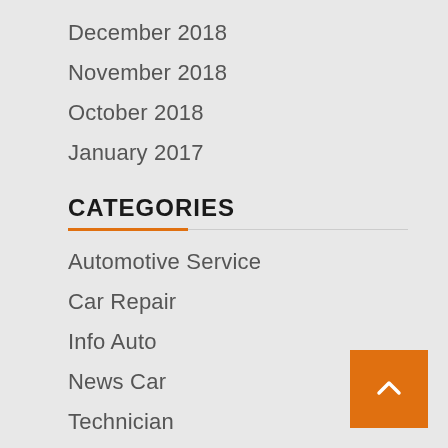December 2018
November 2018
October 2018
January 2017
CATEGORIES
Automotive Service
Car Repair
Info Auto
News Car
Technician
Vehicles